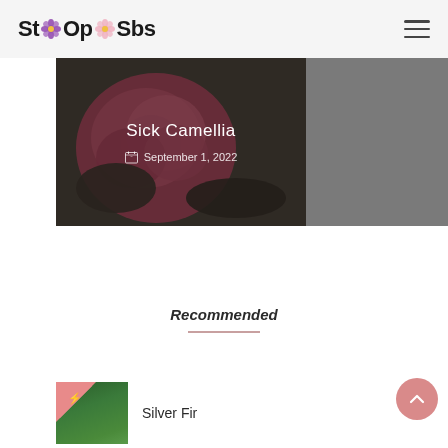StOpSbs
[Figure (photo): Sick Camellia blog post hero image: pink camellia flower on left (with dark overlay), gray panel on right. Title: Sick Camellia, Date: September 1, 2022]
Sick Camellia
September 1, 2022
Recommended
[Figure (photo): Silver Fir blog post thumbnail with pink badge icon in top-left corner, green conifer trees in background]
Silver Fir